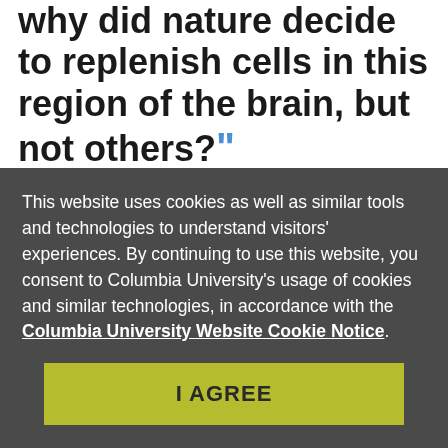why did nature decide to replenish cells in this region of the brain, but not others?”
This website uses cookies as well as similar tools and technologies to understand visitors' experiences. By continuing to use this website, you consent to Columbia University's usage of cookies and similar technologies, in accordance with the Columbia University Website Cookie Notice.
I AGREE